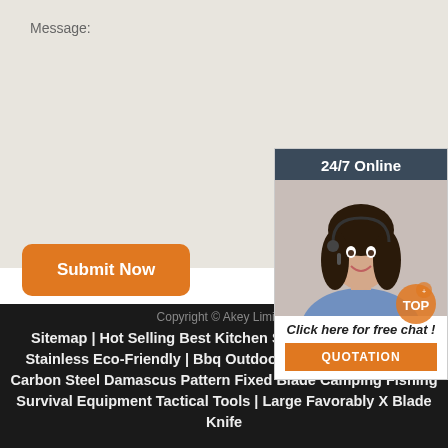Message:
[Figure (illustration): Message text area input box (empty, light beige background)]
Submit Now
[Figure (illustration): 24/7 Online chat widget with photo of smiling woman with headset, 'Click here for free chat!' text, and QUOTATION button]
Copyright © Akey Limited
Sitemap | Hot Selling Best Kitchen Sa... Damascus Steel Stainless Eco-Friendly | Bbq Outdoor Hunting Knife High-Carbon Steel Damascus Pattern Fixed Blade Camping Fishing Survival Equipment Tactical Tools | Large Favorably X Blade Knife